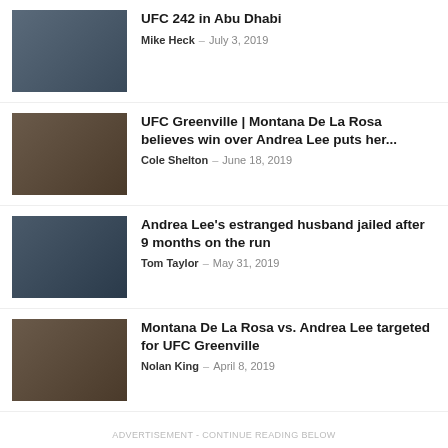UFC 242 in Abu Dhabi — Mike Heck – July 3, 2019
UFC Greenville | Montana De La Rosa believes win over Andrea Lee puts her... — Cole Shelton – June 18, 2019
Andrea Lee's estranged husband jailed after 9 months on the run — Tom Taylor – May 31, 2019
Montana De La Rosa vs. Andrea Lee targeted for UFC Greenville — Nolan King – April 8, 2019
ADVERTISEMENT - CONTINUE READING BELOW